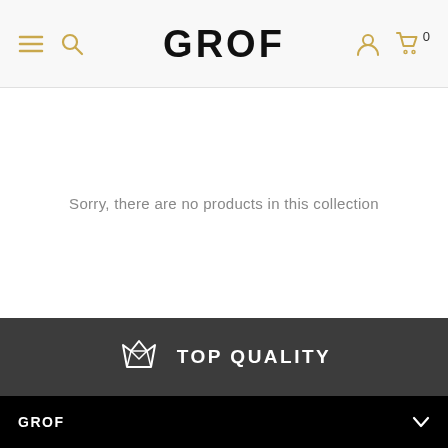GROF
Sorry, there are no products in this collection
[Figure (infographic): Dark grey banner with diamond gem icon and text TOP QUALITY]
GROF
INFORMATION
TERMS & CONDITIONS